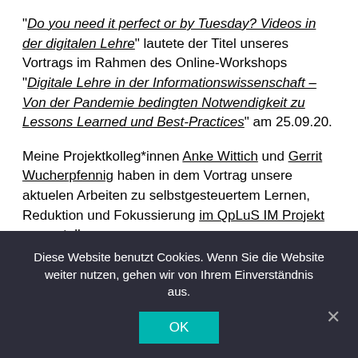"Do you need it perfect or by Tuesday? Videos in der digitalen Lehre" lautete der Titel unseres Vortrags im Rahmen des Online-Workshops "Digitale Lehre in der Informationswissenschaft – Von der Pandemie bedingten Notwendigkeit zu Lessons Learned und Best-Practices" am 25.09.20.
Meine Projektkolleg*innen Anke Wittich und Gerrit Wucherpfennig haben in dem Vortrag unsere aktuelen Arbeiten zu selbstgesteuertem Lernen, Reduktion und Fokussierung im QpLuS IM Projekt vorgestell.
Alle Workshop-Beiträge sind online verfügbar unter Videos und Präsentationen der Workshops Digitale
Diese Website benutzt Cookies. Wenn Sie die Website weiter nutzen, gehen wir von Ihrem Einverständnis aus.